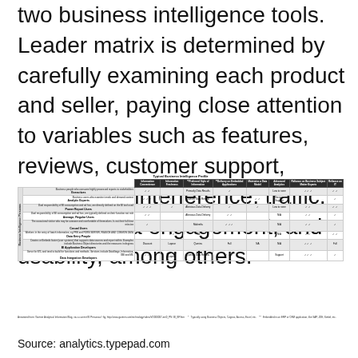two business intelligence tools. Leader matrix is determined by carefully examining each product and seller, paying close attention to variables such as features, reviews, customer support, integration, interference, traffic, social media engagement, and usability, among others.
[Figure (table-as-image): Typical Business Intelligence Profile table showing BI personas (Executives, Analytic Experts, Power Report Users, Average Regular Users, Casual Users, Data Entry People, BI Application Developers, Data Integration Developers) against columns (Information Convenience, Information Freshness, Preferred Style of Information, Delivery on Embedded Applications, Maintains a Data Model, Advanced Analytics, Reliance on Business Subject Matter Experts, Reliance on IT)]
Annotated from: Gartner Analytical Information Blog, via a current BI Personas© fig, http://www.gartner.com/technology/video/VD000007-en/0_PN_BI_BP.htm * Typically using Business Objects, Cognos, Access, Excel, etc. ** Embedded in an ERP or CRM application, like SAP, JDE, Siebel, etc.
Source: analytics.typepad.com